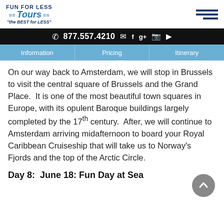FUN FOR LESS Tours "the BEST for LESS"
877.557.4210
Information | Pricing | Itinerary
On our way back to Amsterdam, we will stop in Brussels to visit the central square of Brussels and the Grand Place.  It is one of the most beautiful town squares in Europe, with its opulent Baroque buildings largely completed by the 17th century.  After, we will continue to Amsterdam arriving midafternoon to board your Royal Caribbean Cruiseship that will take us to Norway's Fjords and the top of the Arctic Circle.
Day 8:  June 18: Fun Day at Sea